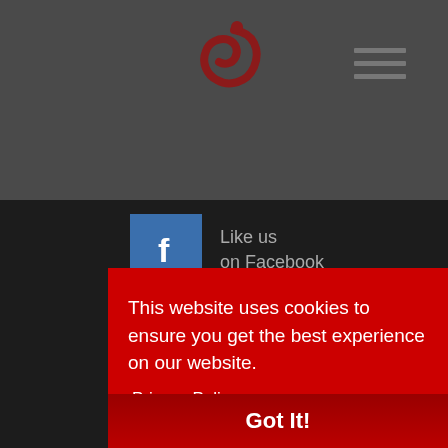[Figure (logo): Red swirl/crescent logo on dark gray header bar]
[Figure (infographic): Hamburger menu icon (three horizontal dark lines) in top right of header]
[Figure (infographic): Facebook icon - blue square with white 'f']
Like us on Facebook
[Figure (infographic): Twitter icon - teal/blue square with white bird]
Follow us on Twitter
[Figure (infographic): LinkedIn icon - teal square (partially visible)]
Follow us
This website uses cookies to ensure you get the best experience on our website.
Privacy Policy
Got It!